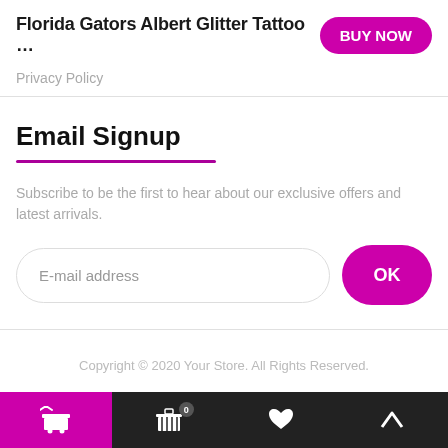Florida Gators Albert Glitter Tattoo …
Privacy Policy
Email Signup
Subscribe to be the first to hear about our exclusive offers and latest arrivals.
E-mail address
Copyright © 2020 Your Store. All Rights Reserved.